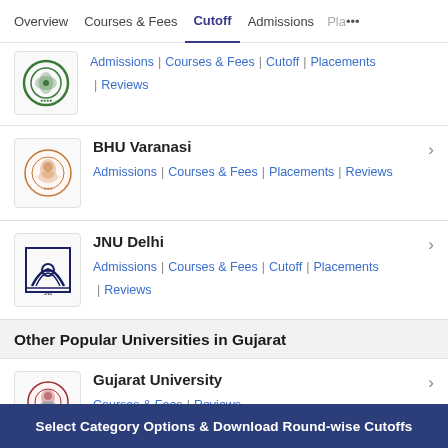Overview | Courses & Fees | Cutoff | Admissions | Pla...
Admissions | Courses & Fees | Cutoff | Placements | Reviews
BHU Varanasi
Admissions | Courses & Fees | Placements | Reviews
JNU Delhi
Admissions | Courses & Fees | Cutoff | Placements | Reviews
Other Popular Universities in Gujarat
Gujarat University
Courses & Fees | Reviews
Select Category Options & Download Round-wise Cutoffs